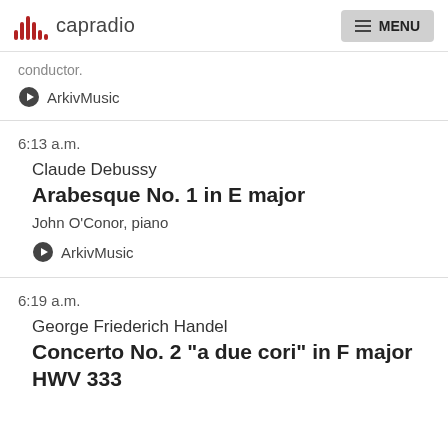capradio  MENU
conductor.
ArkivMusic
6:13 a.m.
Claude Debussy
Arabesque No. 1 in E major
John O'Conor, piano
ArkivMusic
6:19 a.m.
George Friederich Handel
Concerto No. 2 "a due cori" in F major HWV 333